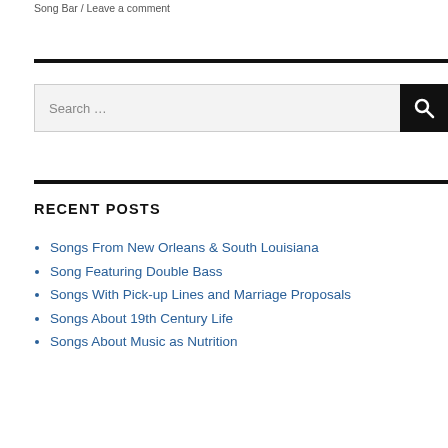Song Bar / Leave a comment
Search …
RECENT POSTS
Songs From New Orleans & South Louisiana
Song Featuring Double Bass
Songs With Pick-up Lines and Marriage Proposals
Songs About 19th Century Life
Songs About Music as Nutrition